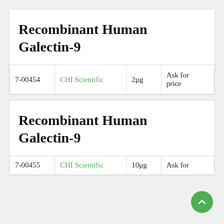Recombinant Human Galectin-9
|  |  |  |  |
| --- | --- | --- | --- |
| 7-00454 | CHI Scientific | 2μg | Ask for price |
Recombinant Human Galectin-9
|  |  |  |  |
| --- | --- | --- | --- |
| 7-00455 | CHI Scientific | 10μg | Ask for |